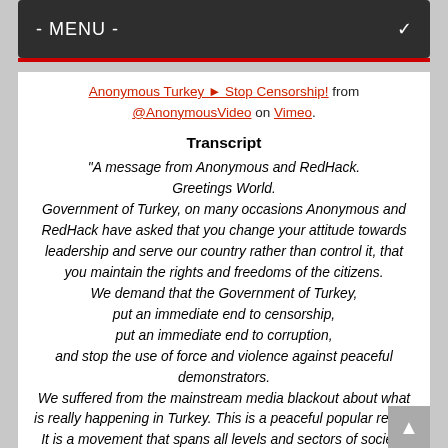- MENU -
Anonymous Turkey ► Stop Censorship! from @AnonymousVideo on Vimeo.
Transcript
"A message from Anonymous and RedHack. Greetings World. Government of Turkey, on many occasions Anonymous and RedHack have asked that you change your attitude towards leadership and serve our country rather than control it, that you maintain the rights and freedoms of the citizens. We demand that the Government of Turkey, put an immediate end to censorship, put an immediate end to corruption, and stop the use of force and violence against peaceful demonstrators. We suffered from the mainstream media blackout about what is really happening in Turkey. This is a peaceful popular revolt. It is a movement that spans all levels and sectors of society.